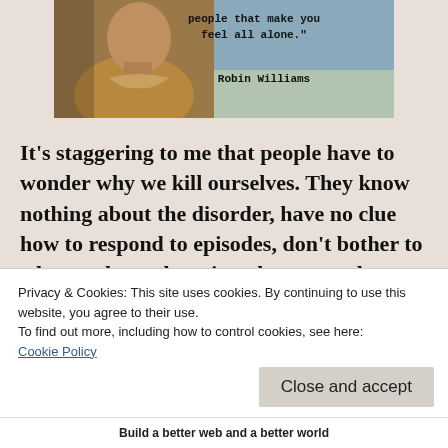[Figure (photo): Photo of a person (Robin Williams) in a tan jacket with a quote overlay: 'people that make you feel all alone.' Robin Williams]
It's staggering to me that people have to wonder why we kill ourselves. They know nothing about the disorder, have no clue how to respond to episodes, don't bother to educate themselves, just dump people on the side of the road who have it and then tell all
Privacy & Cookies: This site uses cookies. By continuing to use this website, you agree to their use.
To find out more, including how to control cookies, see here:
Cookie Policy
Build a better web and a better world